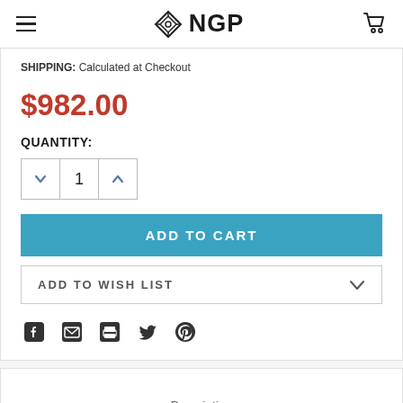NGP - navigation header with hamburger menu, NGP logo, and cart icon
SHIPPING: Calculated at Checkout
$982.00
QUANTITY:
1
ADD TO CART
ADD TO WISH LIST
[Figure (other): Social share icons: Facebook, Email, Print, Twitter, Pinterest]
Description